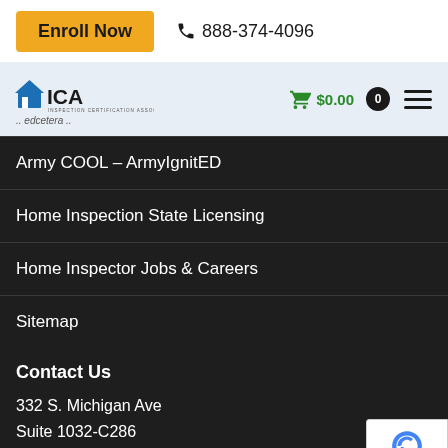[Figure (screenshot): Enroll Now button (gold/amber background, bold black text) and phone number 888-374-4096 with phone icon in top bar]
[Figure (logo): NICA (Inspection Certification Associates) logo with house icon, cart showing $0.00, badge showing 0, and hamburger menu icon. Below logo: '.. edcetera ..']
Army COOL – ArmyIgnitED
Home Inspection State Licensing
Home Inspector Jobs & Careers
Sitemap
Contact Us
332 S. Michigan Ave
Suite 1032-C286
Chicago IL 60604-4434